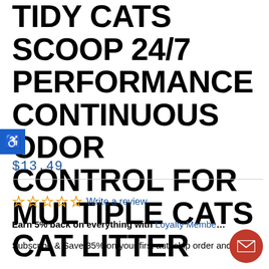TIDY CATS SCOOP 24/7 PERFORMANCE CONTINUOUS ODOR CONTROL FOR MULTIPLE CATS CAT LITTER
$13.49
☆☆☆☆☆ Write a review
Earn 5% back on everything with Loyalty Membe...
Subscribe & Save 35% on your first autoship order and...